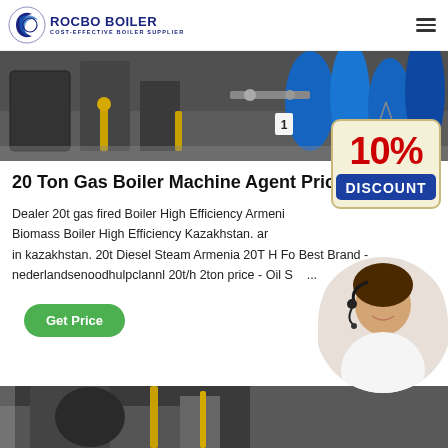[Figure (logo): Rocbo Boiler logo with crescent/globe icon and text ROCBO BOILER COST-EFFECTIVE BOILER SUPPLIER]
[Figure (photo): Industrial boiler machinery in a factory setting with blue and yellow pipes]
20 Ton Gas Boiler Machine Agent Price Latvia
Dealer 20t gas fired Boiler High Efficiency Armenia. Biomass Boiler High Efficiency Kazakhstan. an in kazakhstan. 20t Diesel Steam Armenia 20T H Fo Best Brand nederlandsenoodhulpclannl 20t/h 2ton price - Oil S....
[Figure (infographic): 10% DISCOUNT badge hanging sign in red and cream colors]
[Figure (photo): Customer service representative woman with headset smiling, circular crop]
[Figure (photo): Another industrial boiler factory interior image at bottom of page]